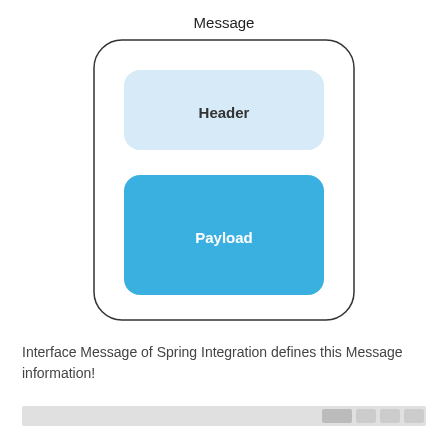[Figure (schematic): Diagram showing a 'Message' container (rounded rectangle with thin black border) containing two boxes: 'Header' (light blue rounded rectangle) and 'Payload' (solid blue rounded rectangle with white text). The label 'Message' appears above the outer container.]
Interface Message of Spring Integration defines this Message information!
[Figure (screenshot): Partial screenshot of a browser or IDE toolbar at the bottom of the page, showing a grey bar with some icons.]